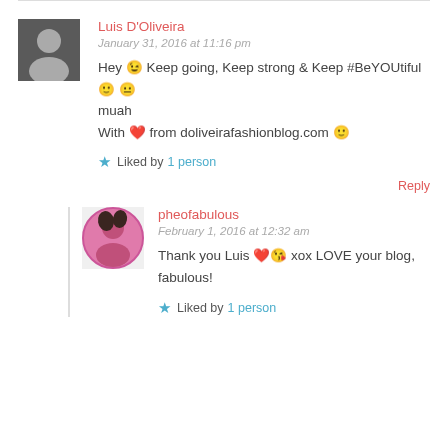Luis D'Oliveira
January 31, 2016 at 11:16 pm
Hey 😉 Keep going, Keep strong & Keep #BeYOUtiful 🙂 😐 muah
With ❤ from doliveirafashionblog.com 🙂
Liked by 1 person
Reply
pheofabulous
February 1, 2016 at 12:32 am
Thank you Luis ❤ 😘 xox LOVE your blog, fabulous!
Liked by 1 person